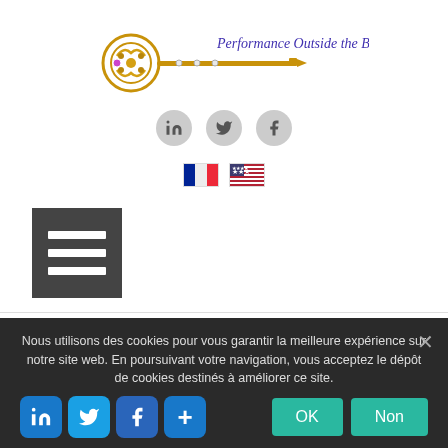[Figure (logo): Golden ornate key with text 'Performance Outside the Box' in purple script]
[Figure (infographic): Three social media icons (LinkedIn, Twitter, Facebook) in grey circles]
[Figure (infographic): French flag and US flag icons for language selection]
[Figure (infographic): Dark grey hamburger menu button with three white horizontal lines]
consumption. We are requested to return to our place as a being of this biosphere and to remember our Amerindians who preserved the
Nous utilisons des cookies pour vous garantir la meilleure expérience sur notre site web. En poursuivant votre navigation, vous acceptez le dépôt de cookies destinés à améliorer ce site.